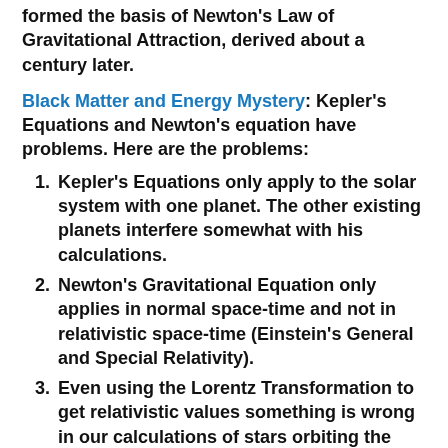formed the basis of Newton's Law of Gravitational Attraction, derived about a century later.
Black Matter and Energy Mystery: Kepler's Equations and Newton's equation have problems. Here are the problems:
1. Kepler's Equations only apply to the solar system with one planet. The other existing planets interfere somewhat with his calculations.
2. Newton's Gravitational Equation only applies in normal space-time and not in relativistic space-time (Einstein's General and Special Relativity).
3. Even using the Lorentz Transformation to get relativistic values something is wrong in our calculations of stars orbiting the edges of galaxies. they're moving faster than either Kepler, or Newton or Einstein predicts...